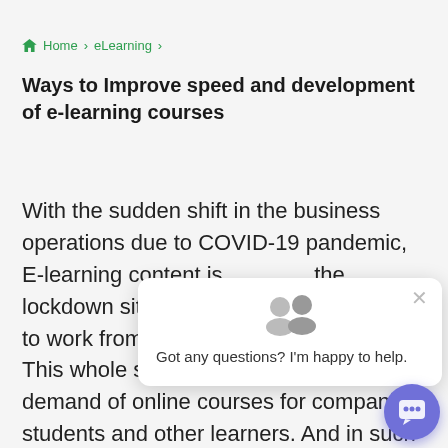Home > eLearning >
Ways to Improve speed and development of e-learning courses
With the sudden shift in the business operations due to COVID-19 pandemic, E-learning content is [obscured] the lockdown situa[tion] to work from home[...] This whole situation has increased the demand of online courses for companies students and other learners. And in such times the e-learning industry is finding ways
[Figure (screenshot): Chat popup overlay with avatar icons, close button, and message 'Got any questions? I'm happy to help.' with a purple chat bubble button in bottom right corner]